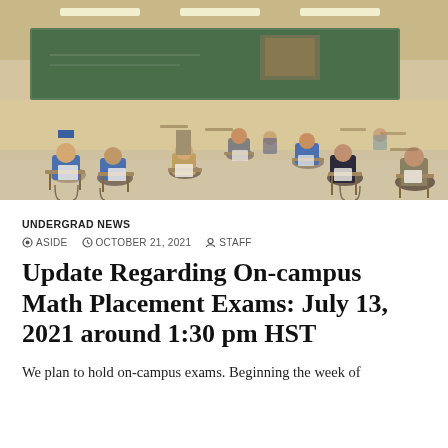[Figure (photo): Wide-angle view of a classroom with students sitting at individual desks spread out taking an exam. Green chalkboard visible at the front. Fluorescent lighting. Beige/tan walls and floor.]
UNDERGRAD NEWS
ASIDE  OCTOBER 21, 2021  STAFF
Update Regarding On-campus Math Placement Exams: July 13, 2021 around 1:30 pm HST
We plan to hold on-campus exams. Beginning the week of